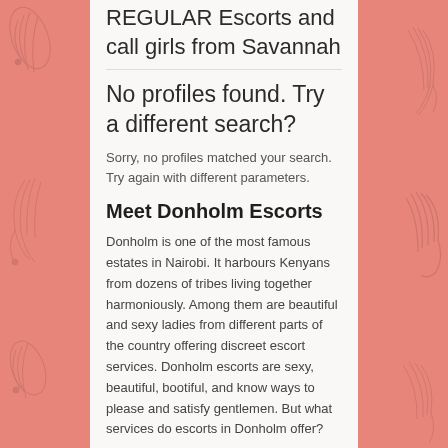REGULAR Escorts and call girls from Savannah
No profiles found. Try a different search?
Sorry, no profiles matched your search. Try again with different parameters.
Meet Donholm Escorts
Donholm is one of the most famous estates in Nairobi. It harbours Kenyans from dozens of tribes living together harmoniously. Among them are beautiful and sexy ladies from different parts of the country offering discreet escort services. Donholm escorts are sexy, beautiful, bootiful, and know ways to please and satisfy gentlemen. But what services do escorts in Donholm offer?
Services Escorts in Donholm